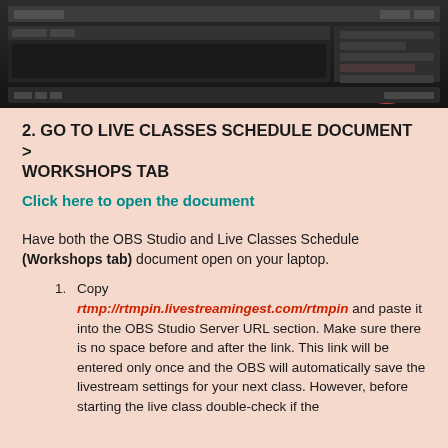[Figure (screenshot): Screenshot of OBS Studio interface showing dark UI with panels and a red circled element in the right panel]
2. GO TO LIVE CLASSES SCHEDULE DOCUMENT > WORKSHOPS TAB
Click here to open the document
Have both the OBS Studio and Live Classes Schedule (Workshops tab) document open on your laptop.
Copy rtmp://rtmpin.livestreamingest.com/rtmpin and paste it into the OBS Studio Server URL section. Make sure there is no space before and after the link. This link will be entered only once and the OBS will automatically save the livestream settings for your next class. However, before starting the live class double-check if the